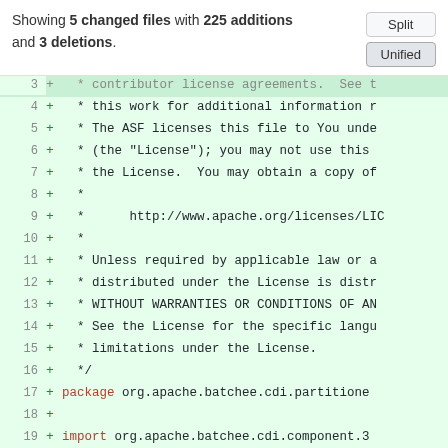Showing 5 changed files with 225 additions and 3 deletions.
[Figure (screenshot): Split/Unified toggle buttons for diff view]
[Figure (screenshot): Unified diff view showing added lines 3-20 of a Java source file with Apache license header and package/import statements]